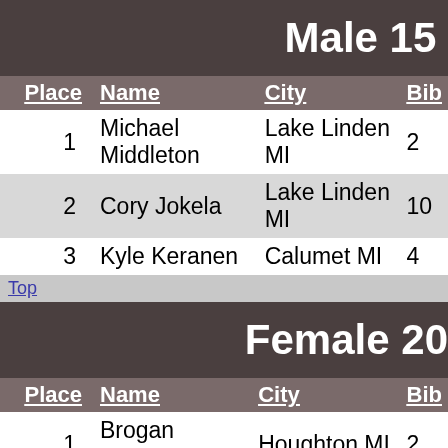Male 15
| Place | Name | City | Bib |
| --- | --- | --- | --- |
| 1 | Michael Middleton | Lake Linden MI | 2 |
| 2 | Cory Jokela | Lake Linden MI | 10 |
| 3 | Kyle Keranen | Calumet MI | 4 |
Top
Female 20
| Place | Name | City | Bib |
| --- | --- | --- | --- |
| 1 | Brogan Beyette | Houghton MI | 2 |
| 2 | Amanda Gertz | Lake Linden MI | 1 |
| 3 | Anne Jarvey | Calumet MI | 4 |
| 4 | Jill Heide | Lake Linden MI | 1 |
| 5 | Andrea Walvatne | Houghton MI | 7 |